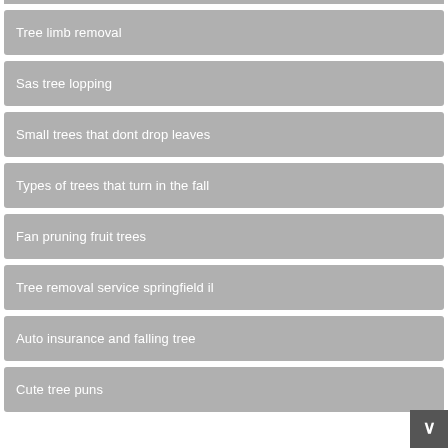Tree limb removal
Sas tree lopping
Small trees that dont drop leaves
Types of trees that turn in the fall
Fan pruning fruit trees
Tree removal service springfield il
Auto insurance and falling tree
Cute tree puns